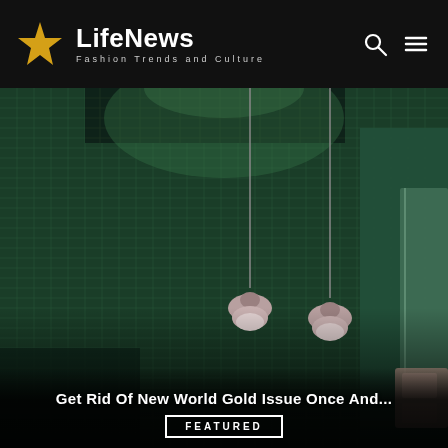LifeNews — Fashion Trends and Culture
[Figure (photo): Interior photo of a dark green tiled bathroom with pendant light bulbs hanging from the ceiling and a glass shower screen on the right side.]
Get Rid Of New World Gold Issue Once And...
FEATURED